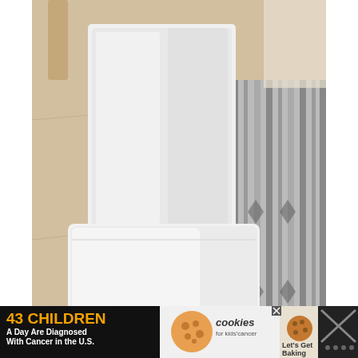[Figure (photo): A white chair with white upholstery/slipcover and a price tag visible on the leg, displayed in what appears to be an IKEA showroom. The floor is light wood laminate and there is a striped rug on the right side. A green circular button with a plus sign is visible on the right side. A heart/favorite button and share button are visible in the bottom-right corner.]
[Figure (screenshot): Advertisement banner with dark/black background. Left section shows orange text '43 CHILDREN' and white text 'A Day Are Diagnosed With Cancer in the U.S.' Middle section shows 'cookies for kids' cancer' logo. Right section shows 'Let's Get Baking' text with cookie image. Far right shows a close/X button and additional graphic elements.]